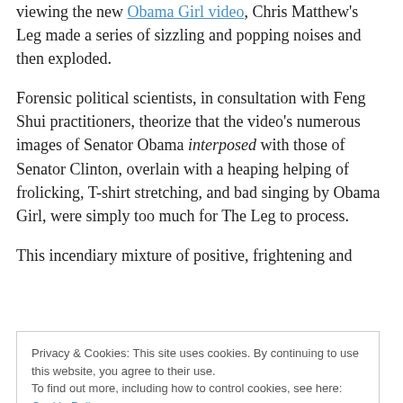viewing the new Obama Girl video, Chris Matthew's Leg made a series of sizzling and popping noises and then exploded.
Forensic political scientists, in consultation with Feng Shui practitioners, theorize that the video's numerous images of Senator Obama interposed with those of Senator Clinton, overlain with a heaping helping of frolicking, T-shirt stretching, and bad singing by Obama Girl, were simply too much for The Leg to process.
This incendiary mixture of positive, frightening and
Privacy & Cookies: This site uses cookies. By continuing to use this website, you agree to their use.
To find out more, including how to control cookies, see here: Cookie Policy
Close and accept
into the night to gather and reassemble the thousands of